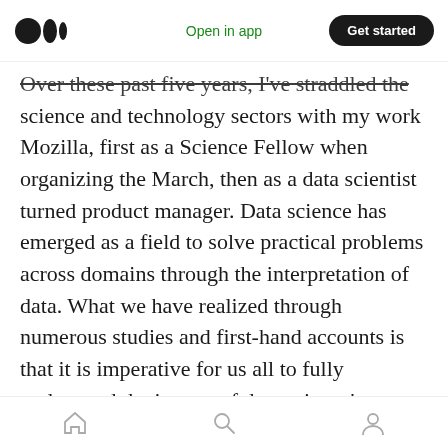Medium logo | Open in app | Get started
Over these past five years, I've straddled the science and technology sectors with my work Mozilla, first as a Science Fellow when organizing the March, then as a data scientist turned product manager. Data science has emerged as a field to solve practical problems across domains through the interpretation of data. What we have realized through numerous studies and first-hand accounts is that it is imperative for us all to fully understand the impact of data science's application, automation, and implications in our day-to-day lives. This is crucial in terms of R&D as well as policy-making
Home | Search | Profile